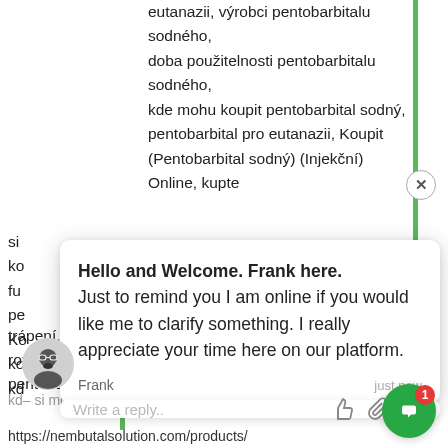eutanazii, výrobci pentobarbitalu sodného, doba použitelnosti pentobarbitalu sodného, kde mohu koupit pentobarbital sodný, pentobarbital pro eutanazii, Koupit (Pentobarbital sodný) (Injekční) Online, kupte si...ko...fu...pe...Ko...ko...kd...
[Figure (screenshot): Chat popup widget from Frank saying: Hello and Welcome. Frank here. Just to remind you I am online if you would like me to clarify something. I really appreciate your time here on our platform. Sender: Frank, just now. Reply bar with 'Write a reply..' placeholder and icons for like, attachment, emoji.]
kd- si mohu koupit pentobarbital sodný...
trápení, tekutý sodík pentobarbital, injekční roztok pentobarbitalu sodného, prášek pentobarbitalu sodného.
https://nembutalsolution.com/products/